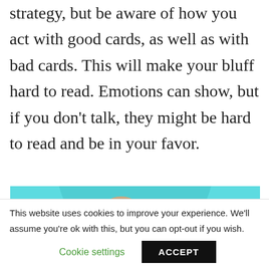strategy, but be aware of how you act with good cards, as well as with bad cards. This will make your bluff hard to read. Emotions can show, but if you don't talk, they might be hard to read and be in your favor.
[Figure (photo): Partial photo showing a person's hand/fist against a teal/turquoise circular background, dark clothing visible]
This website uses cookies to improve your experience. We'll assume you're ok with this, but you can opt-out if you wish.
Cookie settings   ACCEPT